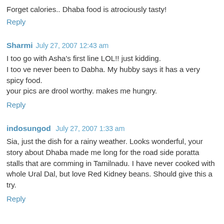Forget calories.. Dhaba food is atrociously tasty!
Reply
Sharmi  July 27, 2007 12:43 am
I too go with Asha's first line LOL!! just kidding.
I too ve never been to Dabha. My hubby says it has a very spicy food.
your pics are drool worthy. makes me hungry.
Reply
indosungod  July 27, 2007 1:33 am
Sia, just the dish for a rainy weather. Looks wonderful, your story about Dhaba made me long for the road side poratta stalls that are comming in Tamilnadu. I have never cooked with whole Ural Dal, but love Red Kidney beans. Should give this a try.
Reply